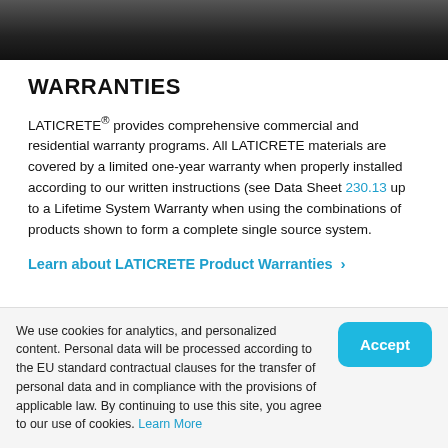[Figure (photo): Dark gradient banner image at top of page]
WARRANTIES
LATICRETE® provides comprehensive commercial and residential warranty programs. All LATICRETE materials are covered by a limited one-year warranty when properly installed according to our written instructions (see Data Sheet 230.13 up to a Lifetime System Warranty when using the combinations of products shown to form a complete single source system.
Learn about LATICRETE Product Warranties >
[Figure (illustration): Green oval/pill shape partially visible at bottom]
We use cookies for analytics, and personalized content. Personal data will be processed according to the EU standard contractual clauses for the transfer of personal data and in compliance with the provisions of applicable law. By continuing to use this site, you agree to our use of cookies. Learn More